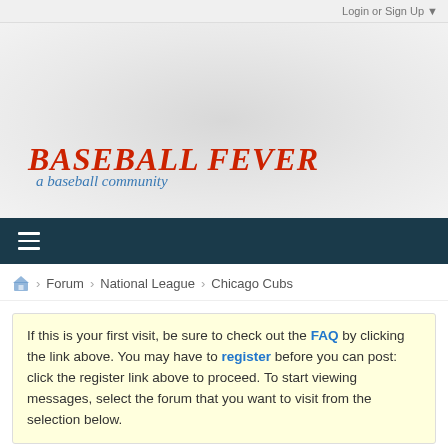Login or Sign Up ▼
[Figure (logo): Baseball Fever logo — red bold italic text 'BASEBALL FEVER' with blue cursive subtitle 'a baseball community']
≡ (hamburger menu icon in dark teal navigation bar)
🏠 > Forum > National League > Chicago Cubs
If this is your first visit, be sure to check out the FAQ by clicking the link above. You may have to register before you can post: click the register link above to proceed. To start viewing messages, select the forum that you want to visit from the selection below.
2008 Chicago Cubs Season